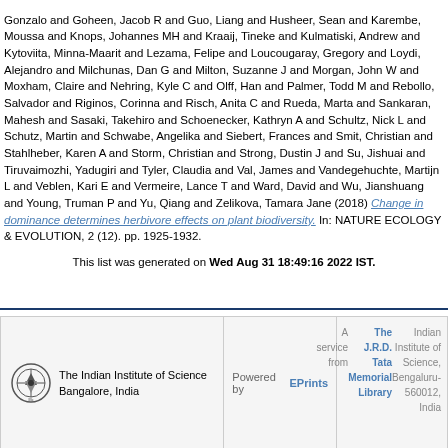and Goheen, Jacob R and Guo, Liang and Husheer, Sean and Karembe, Moussa and Knops, Johannes MH and Kraaij, Tineke and Kulmatiski, Andrew and Kytoviita, Minna-Maarit and Lezama, Felipe and Loucougaray, Gregory and Loydi, Alejandro and Milchunas, Dan G and Milton, Suzanne J and Morgan, John W and Moxham, Claire and Nehring, Kyle C and Olff, Han and Palmer, Todd M and Rebollo, Salvador and Riginos, Corinna and Risch, Anita C and Rueda, Marta and Sankaran, Mahesh and Sasaki, Takehiro and Schoenecker, Kathryn A and Schultz, Nick L and Schutz, Martin and Schwabe, Angelika and Siebert, Frances and Smit, Christian and Stahlheber, Karen A and Storm, Christian and Strong, Dustin J and Su, Jishuai and Tiruvaimozhi, Yadugiri and Tyler, Claudia and Val, James and Vandegehuchte, Martijn L and Veblen, Kari E and Vermeire, Lance T and Ward, David and Wu, Jianshuang and Young, Truman P and Yu, Qiang and Zelikova, Tamara Jane (2018) Change in dominance determines herbivore effects on plant biodiversity. In: NATURE ECOLOGY & EVOLUTION, 2 (12). pp. 1925-1932.
This list was generated on Wed Aug 31 18:49:16 2022 IST.
[Figure (other): Footer with IISc logo, institution name, EPrints powered-by, and JRD Tata Memorial Library service notice]